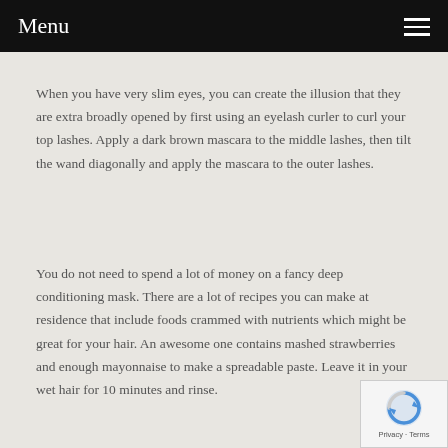Menu
When you have very slim eyes, you can create the illusion that they are extra broadly opened by first using an eyelash curler to curl your top lashes. Apply a dark brown mascara to the middle lashes, then tilt the wand diagonally and apply the mascara to the outer lashes.
You do not need to spend a lot of money on a fancy deep conditioning mask. There are a lot of recipes you can make at residence that include foods crammed with nutrients which might be great for your hair. An awesome one contains mashed strawberries and enough mayonnaise to make a spreadable paste. Leave it in your wet hair for 10 minutes and rinse.